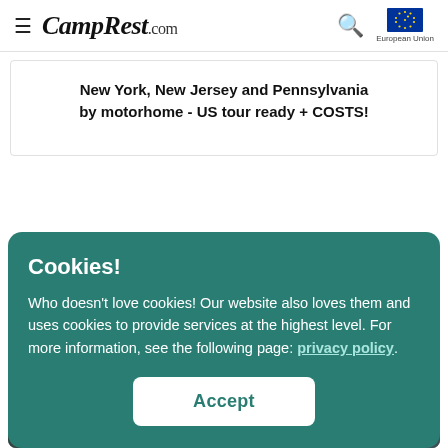CampRest.com
New York, New Jersey and Pennsylvania by motorhome - US tour ready + COSTS!
Cookies!
Who doesn't love cookies! Our website also loves them and uses cookies to provide services at the highest level. For more information, see the following page: privacy policy.
Accept
[Figure (photo): Bottom strip showing a motorhome/vehicle scene]